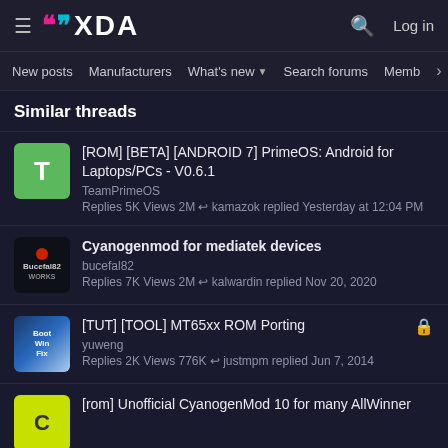XDA Developers — Log in
New posts  Manufacturers  What's new  Search forums  Members  >
Similar threads
[ROM] [BETA] [ANDROID 7] PrimeOS: Android for Laptops/PCs - V0.6.1 — TeamPrimeOS — Replies 5K Views 2M — kamazok replied Yesterday at 12:04 PM
Cyanogenmod for mediatek devices — bucefal82 — Replies 7K Views 2M — kalwardin replied Nov 20, 2020
[TUT] [TOOL] MT65xx ROM Porting — yuweng — Replies 2K Views 776K — justmpm replied Jun 7, 2014
[rom] Unofficial CyanogenMod 10 for many AllWinner